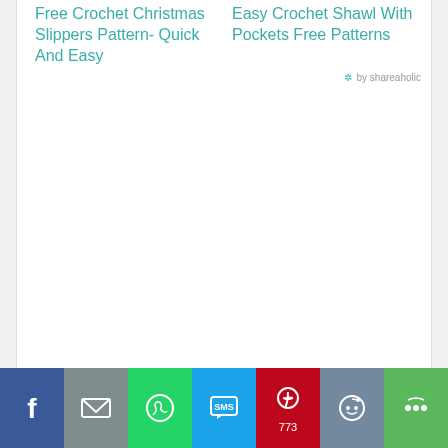Free Crochet Christmas Slippers Pattern- Quick And Easy
Easy Crochet Shawl With Pockets Free Patterns
by shareaholic
[Figure (other): Social share bar with Facebook, Email, WhatsApp, SMS, Pinterest (773), Reddit, and More buttons]